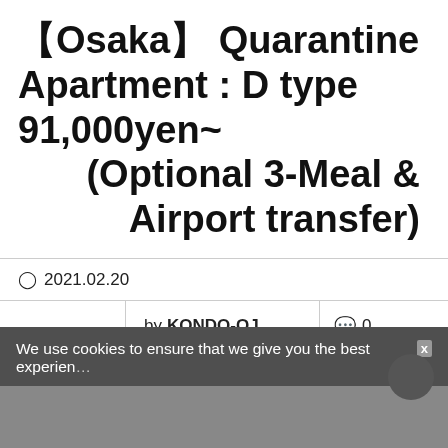【Osaka】 Quarantine Apartment : D type 91,000yen~ (Optional 3-Meal & Airport transfer)
2021.02.20
by KONDO-QJ   💬 0
We use cookies to ensure that we give you the best experien…